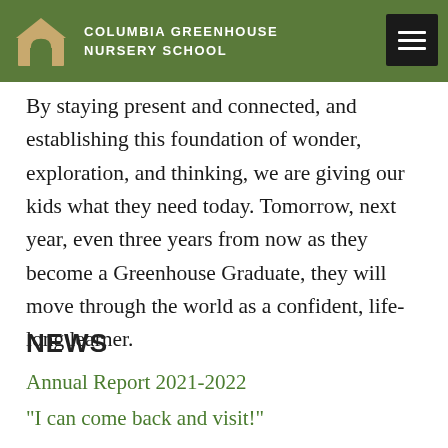COLUMBIA GREENHOUSE NURSERY SCHOOL
By staying present and connected, and establishing this foundation of wonder, exploration, and thinking, we are giving our kids what they need today. Tomorrow, next year, even three years from now as they become a Greenhouse Graduate, they will move through the world as a confident, life-long learner.
NEWS
Annual Report 2021-2022
“I can come back and visit!”